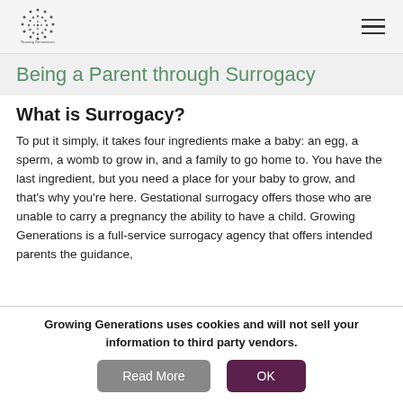Growing Generations logo and navigation menu
Being a Parent through Surrogacy
What is Surrogacy?
To put it simply, it takes four ingredients make a baby: an egg, a sperm, a womb to grow in, and a family to go home to. You have the last ingredient, but you need a place for your baby to grow, and that's why you're here. Gestational surrogacy offers those who are unable to carry a pregnancy the ability to have a child. Growing Generations is a full-service surrogacy agency that offers intended parents the guidance,
Growing Generations uses cookies and will not sell your information to third party vendors.
Read More
OK